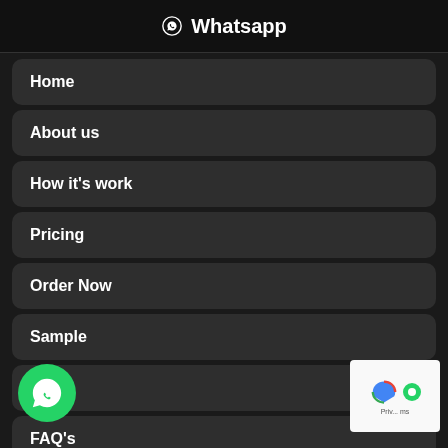⊙ Whatsapp
Home
About us
How it's work
Pricing
Order Now
Sample
Blog
FAQ's
act
[Figure (logo): Green WhatsApp floating action button (FAB) with white WhatsApp logo, positioned bottom-left]
[Figure (logo): Google reCAPTCHA badge with blue arrow logo and green circle, positioned bottom-right, showing 'Priv... ems' text]